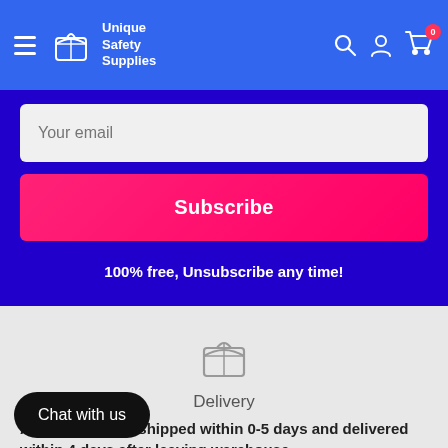Unique Safety Supplies — navigation bar with hamburger menu, logo, search, account, cart (0)
Your email
Subscribe
100% free, Unsubscribe any time!
[Figure (illustration): Delivery box icon (outline style, gray)]
Delivery
All products are shipped within 0-5 days and delivered within 4 days after leaving warehouse.
Chat with us